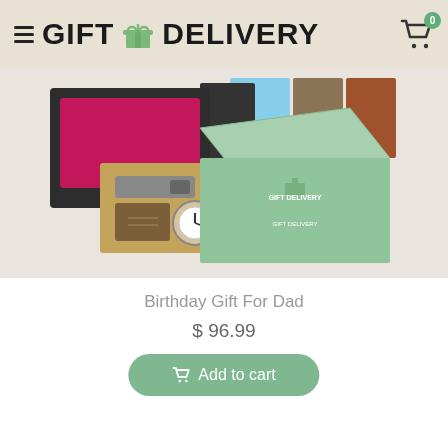GIFT DELIVERY
[Figure (photo): Product photo showing a gift set with a leather wallet, belt, and watch in a box, along with a green Gift Delivery branded box and various other gift boxes in the background]
Birthday Gift For Dad
$ 96.99
Add to cart